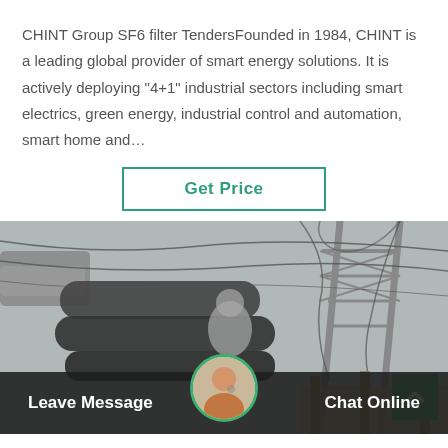CHINT Group SF6 filter TendersFounded in 1984, CHINT is a leading global provider of smart energy solutions. It is actively deploying "4+1" industrial sectors including smart electrics, green energy, industrial control and automation, smart home and…
[Figure (other): Button with teal border reading 'Get Price']
[Figure (photo): Black and white photo of electrical power transmission infrastructure including large pipes, a metal lattice tower, and overhead power lines.]
Leave Message
Chat Online